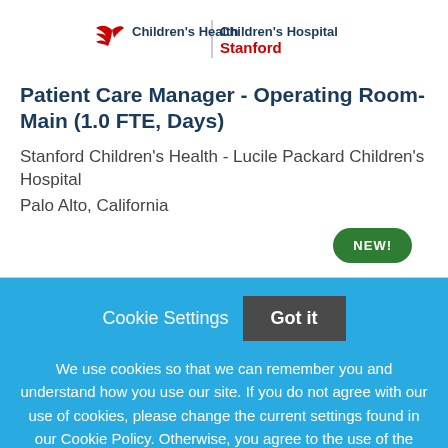[Figure (logo): Children's Health | Children's Hospital Stanford logo with red bird/wing icon]
Patient Care Manager - Operating Room-Main (1.0 FTE, Days)
Stanford Children's Health - Lucile Packard Children's Hospital
Palo Alto, California
NEW!
Cookie Settings  Got it
We use cookies so that we can remember you and understand how you use our site. If you do not agree with our use of cookies, please change the current settings found in our Cookie Policy. Otherwise, you agree to the use of the cookies as they are currently set.